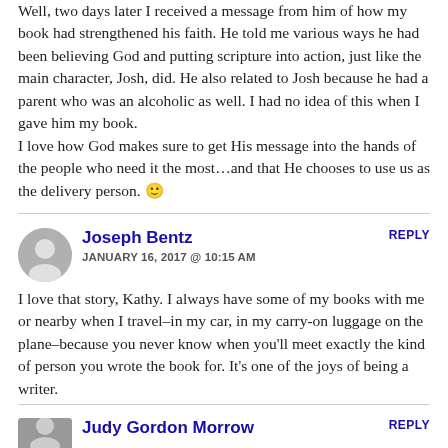Well, two days later I received a message from him of how my book had strengthened his faith. He told me various ways he had been believing God and putting scripture into action, just like the main character, Josh, did. He also related to Josh because he had a parent who was an alcoholic as well. I had no idea of this when I gave him my book.
I love how God makes sure to get His message into the hands of the people who need it the most…and that He chooses to use us as the delivery person. 🙂
REPLY
Joseph Bentz
JANUARY 16, 2017 @ 10:15 AM
I love that story, Kathy. I always have some of my books with me or nearby when I travel–in my car, in my carry-on luggage on the plane–because you never know when you'll meet exactly the kind of person you wrote the book for. It's one of the joys of being a writer.
REPLY
Judy Gordon Morrow